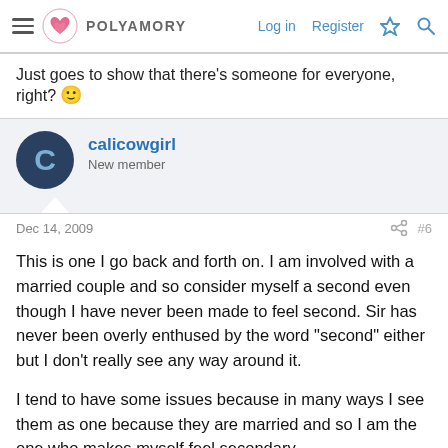POLYAMORY | Log in | Register
Just goes to show that there's someone for everyone, right? 🙂
calicowgirl
New member
Dec 14, 2009 #6
This is one I go back and forth on. I am involved with a married couple and so consider myself a second even though I have never been made to feel second. Sir has never been overly enthused by the word "second" either but I don't really see any way around it.

I tend to have some issues because in many ways I see them as one because they are married and so I am the one who makes myself feel secondary.

As to your OP, that is something else we have been dealing